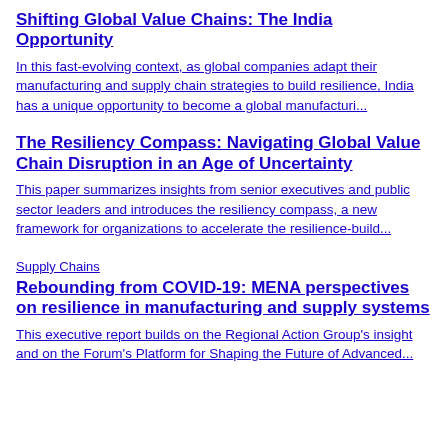Shifting Global Value Chains: The India Opportunity
In this fast-evolving context, as global companies adapt their manufacturing and supply chain strategies to build resilience, India has a unique opportunity to become a global manufacturi...
The Resiliency Compass: Navigating Global Value Chain Disruption in an Age of Uncertainty
This paper summarizes insights from senior executives and public sector leaders and introduces the resiliency compass, a new framework for organizations to accelerate the resilience-build...
Supply Chains
Rebounding from COVID-19: MENA perspectives on resilience in manufacturing and supply systems
This executive report builds on the Regional Action Group's insight and on the Forum's Platform for Shaping the Future of Advanced...